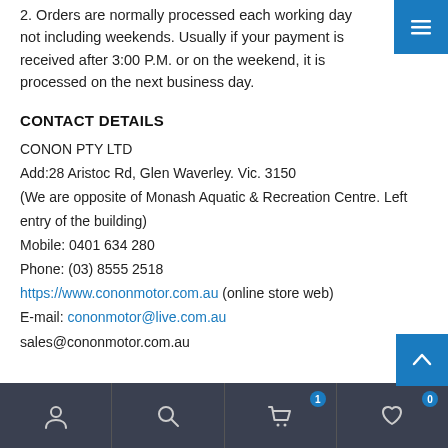2. Orders are normally processed each working day not including weekends. Usually if your payment is received after 3:00 P.M. or on the weekend, it is processed on the next business day.
CONTACT DETAILS
CONON PTY LTD
Add:28 Aristoc Rd, Glen Waverley. Vic. 3150
(We are opposite of Monash Aquatic & Recreation Centre. Left entry of the building)
Mobile: 0401 634 280
Phone: (03) 8555 2518
https://www.cononmotor.com.au (online store web)
E-mail: cononmotor@live.com.au
sales@cononmotor.com.au
Navigation icons: user, search, cart (1), wishlist (0)